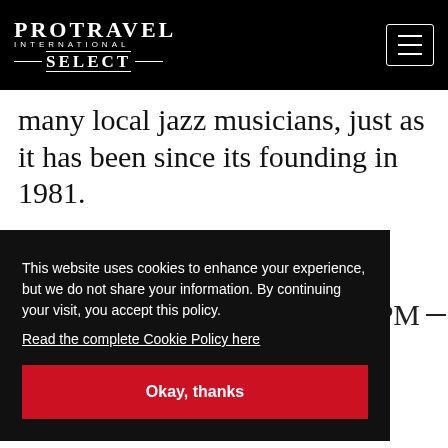PROTRAVEL INTERNATIONAL SELECT
many local jazz musicians, just as it has been since its founding in 1981.
This website uses cookies to enhance your experience, but we do not share your information. By continuing your visit, you accept this policy.
Read the complete Cookie Policy here
Okay, thanks
atmosphere, regional wines or